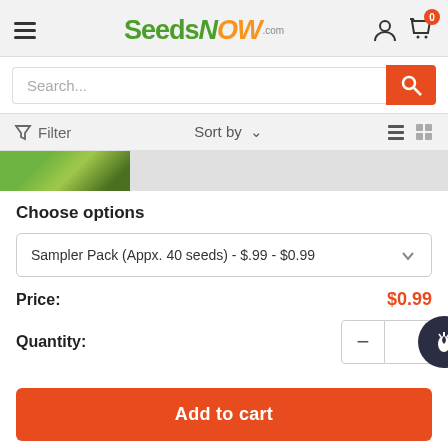[Figure (logo): SeedsNow.com logo with green and orange stylized text]
Search...
Filter  Sort by
[Figure (photo): Partial product image showing green vegetable/plant]
Choose options
Sampler Pack (Appx. 40 seeds) - $.99 - $0.99
Price: $0.99
Quantity:
Add to cart